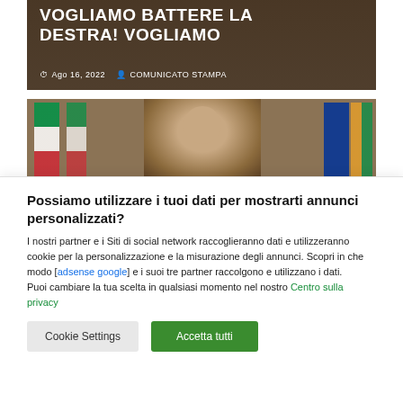[Figure (photo): News article header image with white bold text 'VOGLIAMO BATTERE LA DESTRA! VOGLIAMO' on dark background, with date 'Ago 16, 2022' and category 'COMUNICATO STAMPA']
[Figure (photo): Photo of a man seated in a leather chair at a desk, with Italian flag on the left and EU flag on the right]
Possiamo utilizzare i tuoi dati per mostrarti annunci personalizzati?
I nostri partner e i Siti di social network raccoglieranno dati e utilizzeranno cookie per la personalizzazione e la misurazione degli annunci. Scopri in che modo [adsense google] e i suoi tre partner raccolgono e utilizzano i dati.
Puoi cambiare la tua scelta in qualsiasi momento nel nostro Centro sulla privacy
Cookie Settings
Accetta tutti